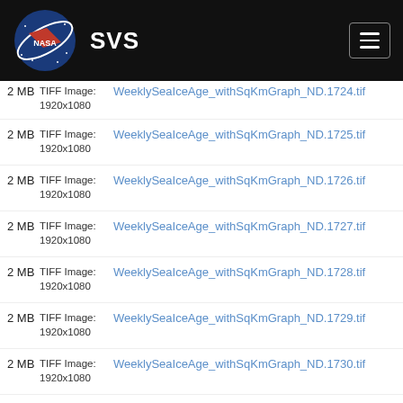NASA SVS
2 MB  TIFF Image: 1920x1080  WeeklySeaIceAge_withSqKmGraph_ND.1724.tif
2 MB  TIFF Image: 1920x1080  WeeklySeaIceAge_withSqKmGraph_ND.1725.tif
2 MB  TIFF Image: 1920x1080  WeeklySeaIceAge_withSqKmGraph_ND.1726.tif
2 MB  TIFF Image: 1920x1080  WeeklySeaIceAge_withSqKmGraph_ND.1727.tif
2 MB  TIFF Image: 1920x1080  WeeklySeaIceAge_withSqKmGraph_ND.1728.tif
2 MB  TIFF Image: 1920x1080  WeeklySeaIceAge_withSqKmGraph_ND.1729.tif
2 MB  TIFF Image: 1920x1080  WeeklySeaIceAge_withSqKmGraph_ND.1730.tif
2 MB  TIFF Image: 1920x1080  WeeklySeaIceAge_withSqKmGraph_ND.1731.tif
2 MB  TIFF Image: 1920x1080  WeeklySeaIceAge_withSqKmGraph_ND.1732.tif
2 MB  TIFF Image: 1920x1080  WeeklySeaIceAge_withSqKmGraph_ND.1733.tif